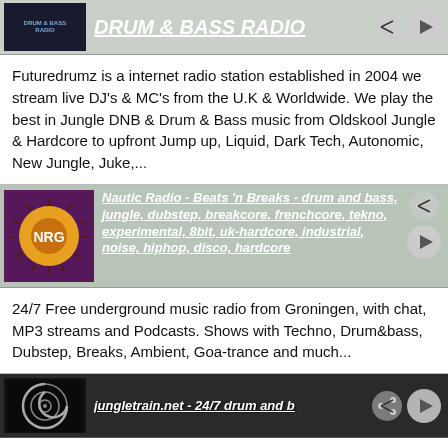[Figure (screenshot): Drum & Bass Radio station row with logo and play/share buttons]
Futuredrumz is a internet radio station established in 2004 we stream live DJ's & MC's from the U.K & Worldwide. We play the best in Jungle DNB & Drum & Bass music from Oldskool Jungle & Hardcore to upfront Jump up, Liquid, Dark Tech, Autonomic, New Jungle, Juke,...
[Figure (screenshot): Nautic Radio - Beats 'n Breaks station row with NRG logo and play/share buttons, tags: drum and bass, jungle, dubstep, breakcore, frenchcore, tekno, experimental, 8bit, uk-hardcore, industrial, noise, hiphop, disco, hardcore]
24/7 Free underground music radio from Groningen, with chat, MP3 streams and Podcasts. Shows with Techno, Drum&bass, Dubstep, Breaks, Ambient, Goa-trance and much...
[Figure (screenshot): jungletrain.net - 24/7 drum and b... station row with spiral logo and play/share buttons]
jungletrain.net... 24/7 jungle / drum & bass internet radio station in the benelux with live djs from across europe and america... Drum & bass DJ / radio host @ Jungletrain.net My